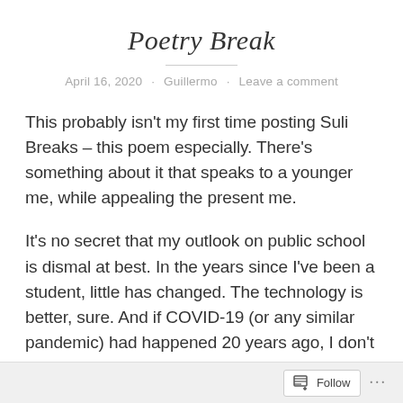Poetry Break
April 16, 2020 · Guillermo · Leave a comment
This probably isn't my first time posting Suli Breaks – this poem especially. There's something about it that speaks to a younger me, while appealing the present me.
It's no secret that my outlook on public school is dismal at best. In the years since I've been a student, little has changed. The technology is better, sure. And if COVID-19 (or any similar pandemic) had happened 20 years ago, I don't know how I would have gotten through the rest of
Follow ···